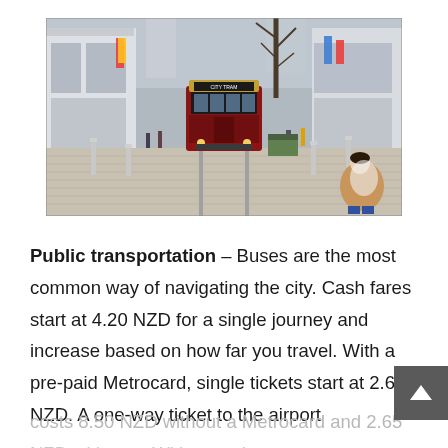[Figure (photo): Street-level photo of a red heritage tram traveling along a pedestrian mall in Christchurch, New Zealand. Modern commercial buildings line both sides. Colorful banners hang from light poles. Bare winter trees are visible in the background. In the foreground right, a person sits on the ground wearing a puffy jacket.]
Public transportation – Buses are the most common way of navigating the city. Cash fares start at 4.20 NZD for a single journey and increase based on how far you travel. With a pre-paid Metrocard, single tickets start at 2.65 NZD. A one-way ticket to the airport costs 8.50 NZD without a Metrocard and 2.65 NZD with one. With a card...